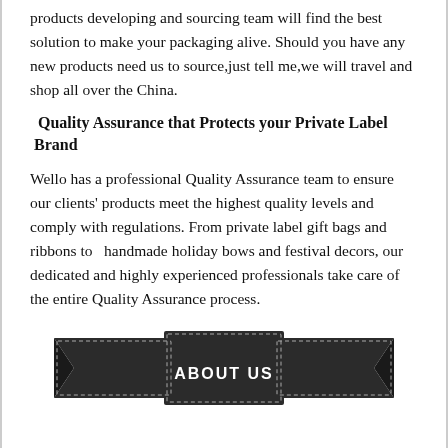products developing and sourcing team will find the best solution to make your packaging alive. Should you have any new products need us to source,just tell me,we will travel and shop all over the China.
Quality Assurance that Protects your Private Label Brand
Wello has a professional Quality Assurance team to ensure our clients' products meet the highest quality levels and comply with regulations. From private label gift bags and ribbons to  handmade holiday bows and festival decors, our dedicated and highly experienced professionals take care of the entire Quality Assurance process.
[Figure (illustration): Dark ribbon/banner graphic with dashed border and bold white text reading 'ABOUT US']